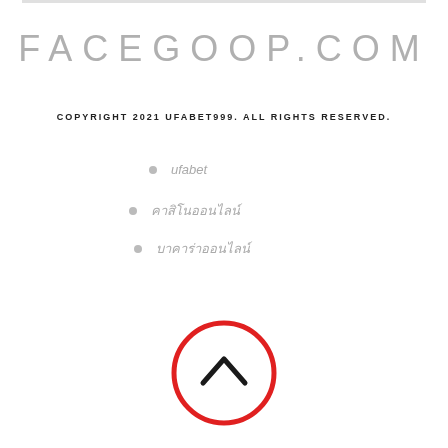FACEGOOP.COM
COPYRIGHT 2021 UFABET999. ALL RIGHTS RESERVED.
ufabet
คาสิโนออนไลน์
บาคาร่าออนไลน์
[Figure (illustration): A red circle outline with a black upward-pointing chevron/caret arrow in the center, functioning as a scroll-to-top button.]